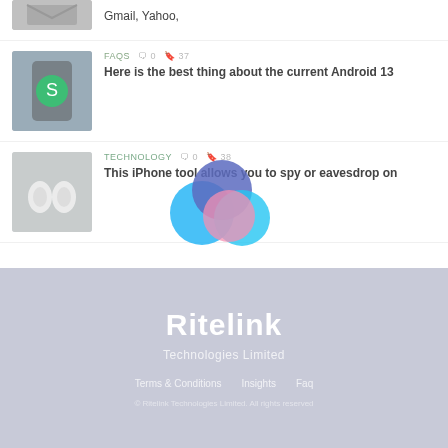Gmail, Yahoo,
FAQS  0  37 — Here is the best thing about the current Android 13
TECHNOLOGY  0  38 — This iPhone tool allows you to spy or eavesdrop on
[Figure (logo): Ritelink circular overlapping shapes logo in blue, indigo, and pink]
Ritelink
Technologies Limited
Terms & Conditions   Insights   Faq